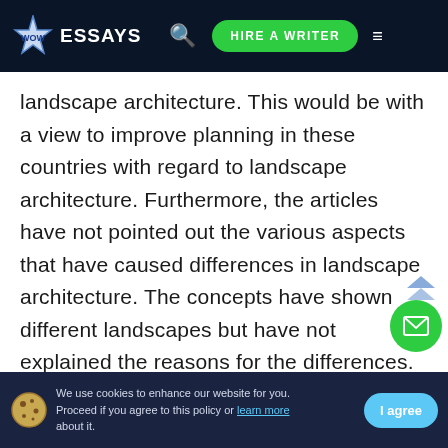WOW ESSAYS | HIRE A WRITER
landscape architecture. This would be with a view to improve planning in these countries with regard to landscape architecture. Furthermore, the articles have not pointed out the various aspects that have caused differences in landscape architecture. The concepts have shown different landscapes but have not explained the reasons for the differences.
Although landscape architecture has been able to form a major part of development in many countries, there is still room for improvement
We use cookies to enhance our website for you. Proceed if you agree to this policy or learn more about it. [I agree]